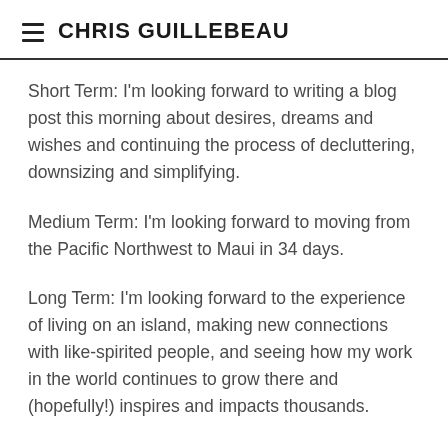CHRIS GUILLEBEAU
Short Term: I'm looking forward to writing a blog post this morning about desires, dreams and wishes and continuing the process of decluttering, downsizing and simplifying.
Medium Term: I'm looking forward to moving from the Pacific Northwest to Maui in 34 days.
Long Term: I'm looking forward to the experience of living on an island, making new connections with like-spirited people, and seeing how my work in the world continues to grow there and (hopefully!) inspires and impacts thousands.